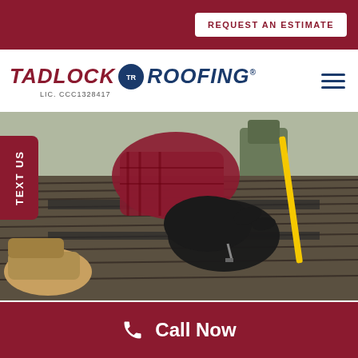REQUEST AN ESTIMATE
[Figure (logo): Tadlock Roofing logo with circular TR badge and license number LIC. CCC1328417]
[Figure (photo): Roofing worker in plaid shirt and black gloves working on roof shingles, with another worker in the background, yellow tool visible]
TEXT US
Roof Service Repair Financing...
Call Now